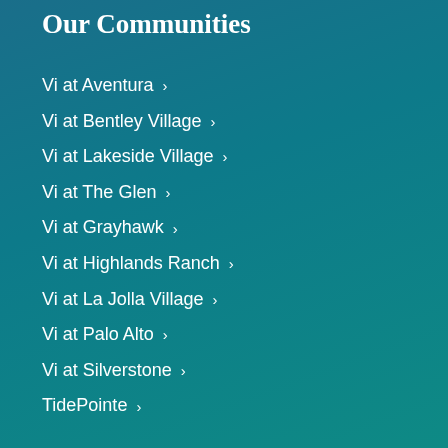Our Communities
Vi at Aventura ›
Vi at Bentley Village ›
Vi at Lakeside Village ›
Vi at The Glen ›
Vi at Grayhawk ›
Vi at Highlands Ranch ›
Vi at La Jolla Village ›
Vi at Palo Alto ›
Vi at Silverstone ›
TidePointe ›